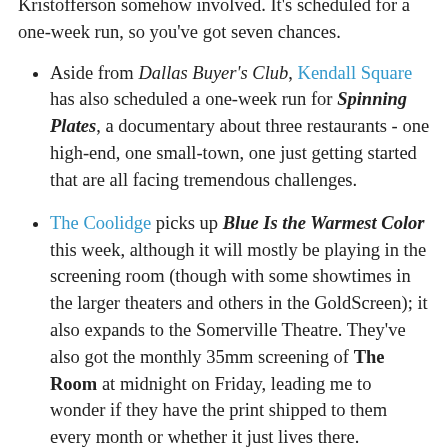Kristofferson somehow involved. It's scheduled for a one-week run, so you've got seven chances.
Aside from Dallas Buyer's Club, Kendall Square has also scheduled a one-week run for Spinning Plates, a documentary about three restaurants - one high-end, one small-town, one just getting started that are all facing tremendous challenges.
The Coolidge picks up Blue Is the Warmest Color this week, although it will mostly be playing in the screening room (though with some showtimes in the larger theaters and others in the GoldScreen); it also expands to the Somerville Theatre. They've also got the monthly 35mm screening of The Room at midnight on Friday, leading me to wonder if they have the print shipped to them every month or whether it just lives there.
But ignore that, because it's Saturday's Midnight movie in the basement ...